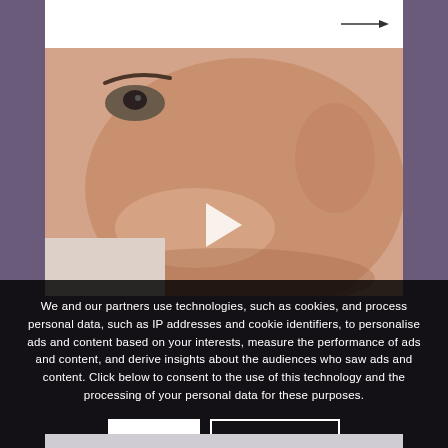[Figure (photo): Top white navigation bar with a right-pointing arrow/line icon on the right side]
[Figure (photo): Close-up photo of a person's face lying down, with a play button overlay indicating a video thumbnail]
We and our partners use technologies, such as cookies, and process personal data, such as IP addresses and cookie identifiers, to personalise ads and content based on your interests, measure the performance of ads and content, and derive insights about the audiences who saw ads and content. Click below to consent to the use of this technology and the processing of your personal data for these purposes.
OK
Learn more